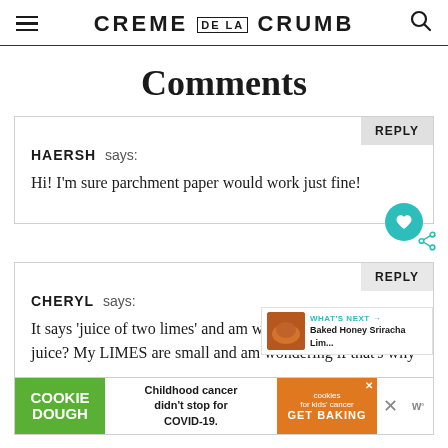CREME DE LA CRUMB
Comments
HAERSH says:
Hi! I'm sure parchment paper would work just fine!
CHERYL says:
It says 'juice of two limes' and am wondering HOW much juice? My LIMES are small and am wondering if that's why
[Figure (screenshot): Cookie Dough / Childhood cancer didn't stop for COVID-19 / cookies for kids cancer GET BAKING advertisement bar]